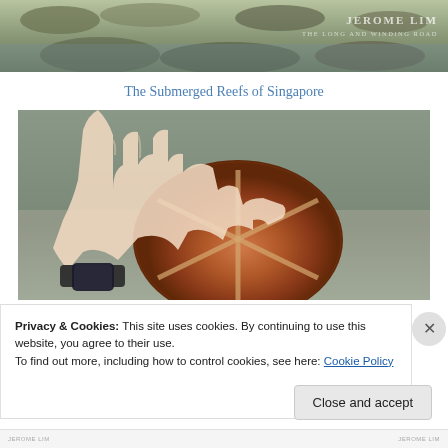[Figure (photo): Top banner photo showing rocky coastal/reef scene with watermark text 'JEROME LIM / THE LONG AND WINDING ROAD']
The Submerged Reefs of Singapore
[Figure (photo): Close-up photo of a hand holding a large reddish-brown sand dollar or sea biscuit on a sandy beach, showing the five-pointed star pattern on its surface]
Privacy & Cookies: This site uses cookies. By continuing to use this website, you agree to their use.
To find out more, including how to control cookies, see here: Cookie Policy
Close and accept